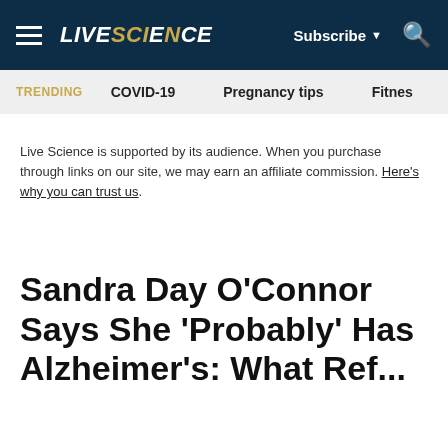LIVE SCIENCE — Subscribe — Search
TRENDING — COVID-19 — Pregnancy tips — Fitnes
Live Science is supported by its audience. When you purchase through links on our site, we may earn an affiliate commission. Here's why you can trust us.
Sandra Day O'Connor Says She 'Probably' Has Alzheimer's: What Bef...